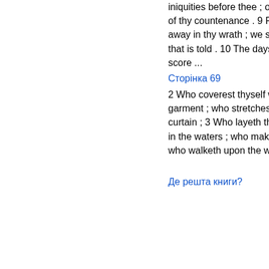iniquities before thee ; our secret sins in the light of thy countenance . 9 For all our days are passed away in thy wrath ; we spend our years as a tale that is told . 10 The days of our years are three - score ...
Сторінка 69
2 Who coverest thyself with light as with a garment ; who stretchest out the heavens like a curtain ; 3 Who layeth the beams of his chambers in the waters ; who maketh the clouds his chariot ; who walketh upon the wings of the wind ...
Уперед »
Де решта книги?